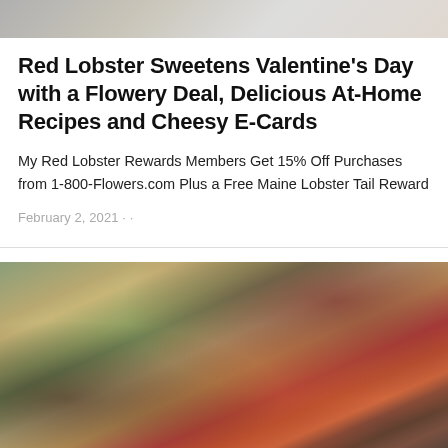[Figure (photo): Top cropped food photo showing a plate of food and a pink/red flower arrangement on a white background]
Red Lobster Sweetens Valentine’s Day with a Flowery Deal, Delicious At-Home Recipes and Cheesy E-Cards
My Red Lobster Rewards Members Get 15% Off Purchases from 1-800-Flowers.com Plus a Free Maine Lobster Tail Reward
February 2, 2021 · ·
[Figure (photo): Red Lobster seafood and steak platter with lobster tails, a baked potato, green beans, garlic, lemon, and a glass of red wine in the background]